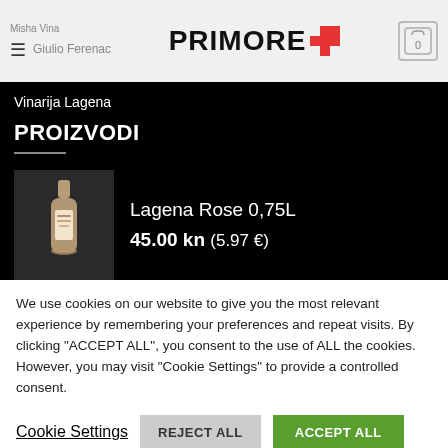Misha Vina | Giulio Ferenac | PRIMORE
Vinarija Lagena
PROIZVODI
[Figure (photo): Bottle of Lagena Rose wine, product image on dark background]
Lagena Rose 0,75L
45.00 kn (5.97 €)
We use cookies on our website to give you the most relevant experience by remembering your preferences and repeat visits. By clicking "ACCEPT ALL", you consent to the use of ALL the cookies. However, you may visit "Cookie Settings" to provide a controlled consent.
Cookie Settings | REJECT ALL | ACCEPT ALL